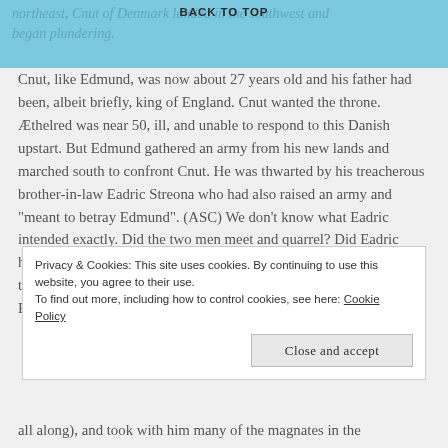northeast, Cnut of Denmark landed in the southwest and began plundering.
Cnut, like Edmund, was now about 27 years old and his father had been, albeit briefly, king of England. Cnut wanted the throne. Æthelred was near 50, ill, and unable to respond to this Danish upstart. But Edmund gathered an army from his new lands and marched south to confront Cnut. He was thwarted by his treacherous brother-in-law Eadric Streona who had also raised an army and “meant to betray Edmund”. (ASC) We don’t know what Eadric intended exactly. Did the two men meet and quarrel? Did Eadric hope to curry favor with Cnut by ridding him of this fierce claimant to the throne? The novelist wonders, too, where Eadric’s wife, Edmund’s
Privacy & Cookies: This site uses cookies. By continuing to use this website, you agree to their use.
To find out more, including how to control cookies, see here: Cookie Policy
all along), and took with him many of the magnates in the